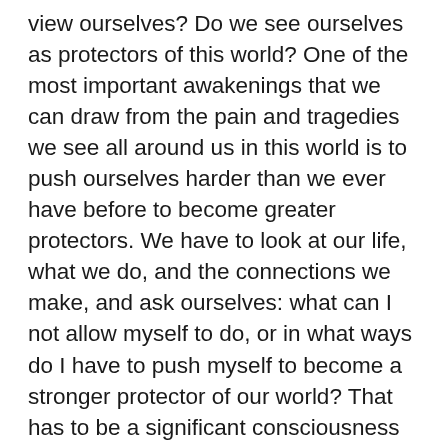view ourselves? Do we see ourselves as protectors of this world? One of the most important awakenings that we can draw from the pain and tragedies we see all around us in this world is to push ourselves harder than we ever have before to become greater protectors. We have to look at our life, what we do, and the connections we make, and ask ourselves: what can I not allow myself to do, or in what ways do I have to push myself to become a stronger protector of our world? That has to be a significant consciousness and thought every single one of us needs to have about ourselves.
Rav Shimon bar Yochai makes it very clear: in our time, there will not be a single soul who will be the protector of this world. The responsibility, therefore, then gets diffused to all of us. When enou[gh people] see ourselves as protectors of the world, wh[en] enough of us take that responsibility, have that
[Figure (illustration): Red rounded speech bubble with three white dots (ellipsis), indicating a continuation or loading indicator, overlaid on the bottom-right of the second paragraph.]